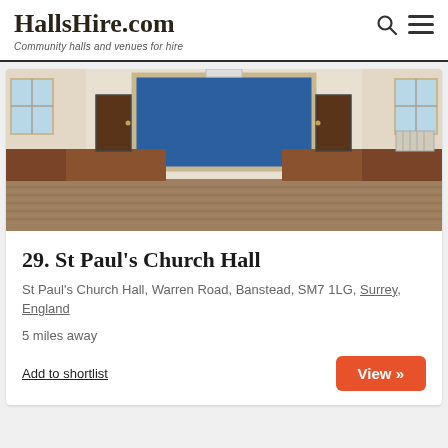HallsHire.com — Community halls and venues for hire
[Figure (photo): Interior photo of St Paul's Church Hall showing a large empty wooden-floored hall with a stage area at the back, brown wood panel wainscoting, windows on the sides, and overhead lighting.]
29. St Paul's Church Hall
St Paul's Church Hall, Warren Road, Banstead, SM7 1LG, Surrey, England
5 miles away
Add to shortlist
View »